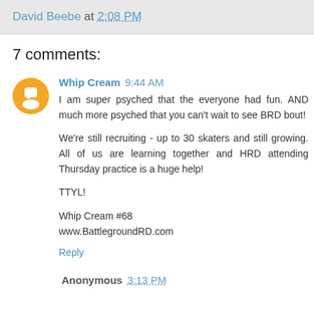David Beebe at 2:08 PM
7 comments:
Whip Cream 9:44 AM
I am super psyched that the everyone had fun. AND much more psyched that you can't wait to see BRD bout!

We're still recruiting - up to 30 skaters and still growing. All of us are learning together and HRD attending Thursday practice is a huge help!

TTYL!

Whip Cream #68
www.BattlegroundRD.com

Reply
Anonymous 3:13 PM